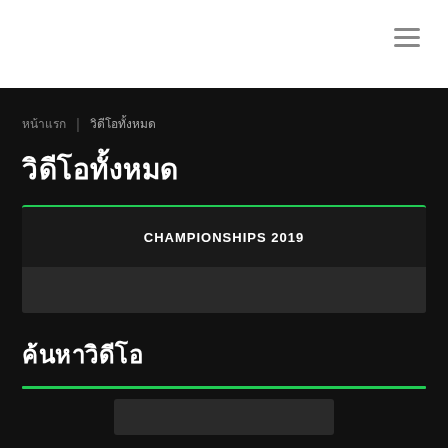หน้าแรก | วิดีโอทั้งหมด
วิดีโอทั้งหมด
[Figure (screenshot): Video thumbnail card showing 'CHAMPIONSHIPS 2019' text with green top border on dark background]
ค้นหาวิดีโอ
[Figure (screenshot): Search/filter bar area with green top border on dark background]